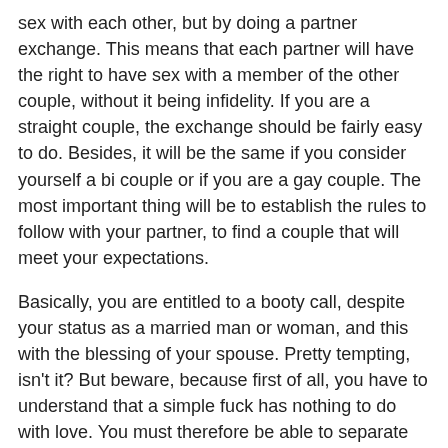sex with each other, but by doing a partner exchange. This means that each partner will have the right to have sex with a member of the other couple, without it being infidelity. If you are a straight couple, the exchange should be fairly easy to do. Besides, it will be the same if you consider yourself a bi couple or if you are a gay couple. The most important thing will be to establish the rules to follow with your partner, to find a couple that will meet your expectations.
Basically, you are entitled to a booty call, despite your status as a married man or woman, and this with the blessing of your spouse. Pretty tempting, isn't it? But beware, because first of all, you have to understand that a simple fuck has nothing to do with love. You must therefore be able to separate sex from any feelings of love, otherwise your lovemaking may do more harm than good to your relationship.
Note that in some cases, couples who are partners in a swingers club choose to meet in real life in Galena Park. For example, they can go on holiday together, organize dinners together, in order to get to know each other better. The aim in this case is to go